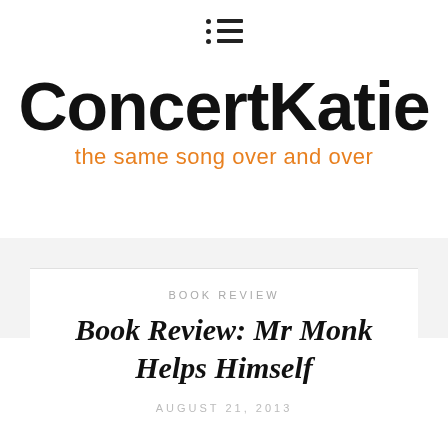[Figure (logo): Menu icon with three rows each consisting of a dot and a horizontal line]
CONCERTKATIE
the same song over and over
BOOK REVIEW
Book Review: Mr Monk Helps Himself
AUGUST 21, 2013